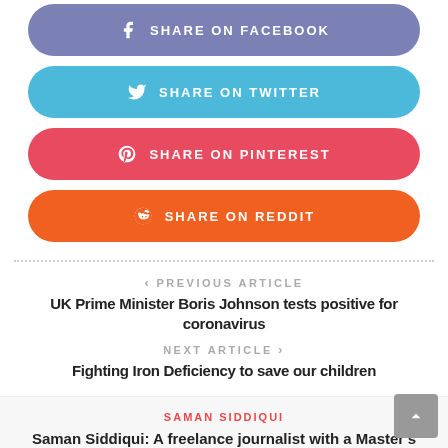[Figure (infographic): Share on Facebook button - rounded rectangle, purple/slate blue background, Facebook icon and text 'SHARE ON FACEBOOK' in white]
[Figure (infographic): Share on Twitter button - rounded rectangle, light blue background, Twitter bird icon and text 'SHARE ON TWITTER' in white]
[Figure (infographic): Share on Pinterest button - rounded rectangle, red/pink background, Pinterest icon and text 'SHARE ON PINTEREST' in white]
[Figure (infographic): Share on Reddit button - rounded rectangle, orange background, Reddit icon and text 'SHARE ON REDDIT' in white]
< PREVIOUS ARTICLE
UK Prime Minister Boris Johnson tests positive for coronavirus
NEXT ARTICLE >
Fighting Iron Deficiency to save our children
SAMAN SIDDIQUI
Saman Siddiqui: A freelance journalist with a Master's